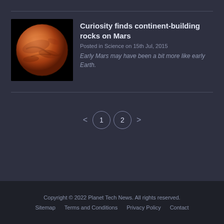[Figure (photo): Photo of Mars planet, reddish-orange globe against black background]
Curiosity finds continent-building rocks on Mars
Posted in Science on 15th Jul, 2015
Early Mars may have been a bit more like early Earth.
< 1 2 >
Copyright © 2022 Planet Tech News. All rights reserved.
Sitemap   Terms and Conditions   Privacy Policy   Contact